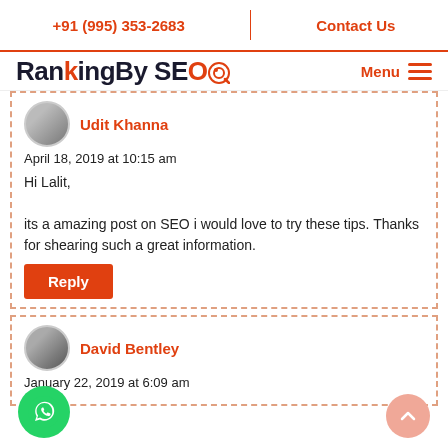+91 (995) 353-2683 | Contact Us
[Figure (logo): RankingBySEO logo with orange target icon and menu hamburger]
Udit Khanna
April 18, 2019 at 10:15 am
Hi Lalit,

its a amazing post on SEO i would love to try these tips. Thanks for shearing such a great information.
Reply
David Bentley
January 22, 2019 at 6:09 am